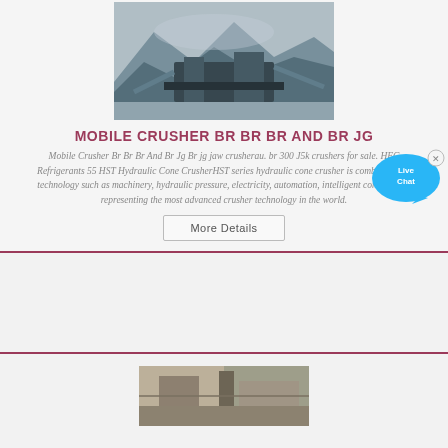[Figure (photo): Outdoor quarry with mobile crusher/screening equipment and conveyor belts, rocky landscape in background]
MOBILE CRUSHER BR BR BR AND BR JG
Mobile Crusher Br Br Br And Br Jg Br jg jaw crusherau. br 300 J5k crushers for sale. HFC Refrigerants 55 HST Hydraulic Cone CrusherHST series hydraulic cone crusher is combined with technology such as machinery, hydraulic pressure, electricity, automation, intelligent control, etc., representing the most advanced crusher technology in the world.
[Figure (other): Live Chat bubble icon — blue speech bubble with 'Live Chat' text and a close X button]
More Details
[Figure (photo): Partial view of industrial machinery or equipment interior, bottom of page]